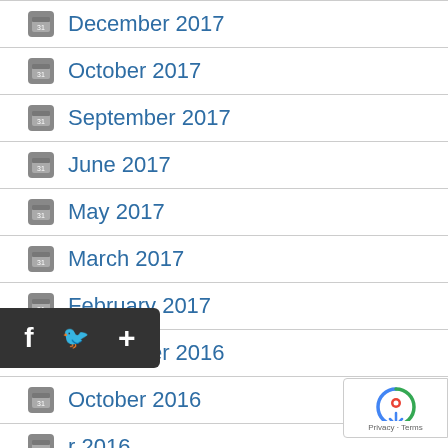December 2017
October 2017
September 2017
June 2017
May 2017
March 2017
February 2017
December 2016
October 2016
r 2016
June 2016